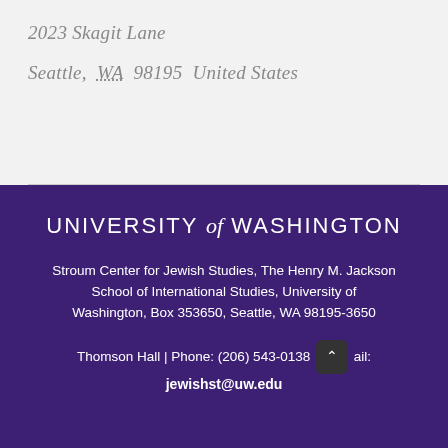2023 Skagit Lane
Seattle,  WA  98195  United States
[Figure (logo): University of Washington logo text: UNIVERSITY of WASHINGTON]
Stroum Center for Jewish Studies, The Henry M. Jackson School of International Studies, University of Washington, Box 353650, Seattle, WA 98195-3650
Thomson Hall | Phone: (206) 543-0138 | Email: jewishst@uw.edu